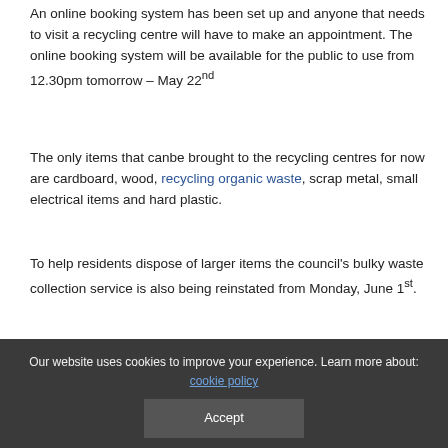An online booking system has been set up and anyone that needs to visit a recycling centre will have to make an appointment. The online booking system will be available for the public to use from 12.30pm tomorrow – May 22nd
The only items that canbe brought to the recycling centres for now are cardboard, wood, recycling organic waste, scrap metal, small electrical items and hard plastic.
To help residents dispose of larger items the council's bulky waste collection service is also being reinstated from Monday, June 1st.
Detailed plans have been put in place to ensure that residents' visits to the recycling centres are managed in a safe way.
Our website uses cookies to improve your experience. Learn more about: cookie policy
Accept